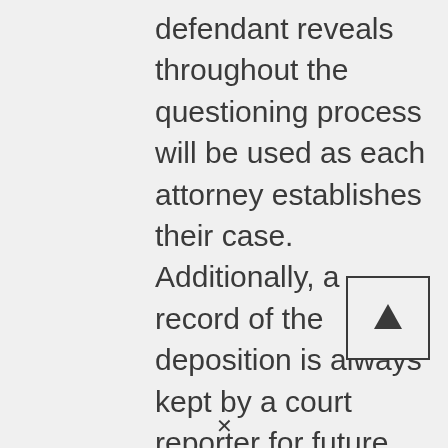defendant reveals throughout the questioning process will be used as each attorney establishes their case. Additionally, a record of the deposition is always kept by a court reporter for future review. Because of this, they will occasionally be shared with the judge and jury on the day of the courtroom trial.